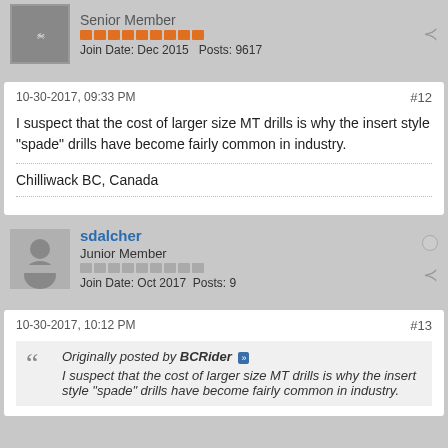Senior Member
Join Date: Dec 2015   Posts: 9617
10-30-2017, 09:33 PM
#12
I suspect that the cost of larger size MT drills is why the insert style "spade" drills have become fairly common in industry.
Chilliwack BC, Canada
sdalcher
Junior Member
Join Date: Oct 2017   Posts: 9
10-30-2017, 10:12 PM
#13
Originally posted by BCRider
I suspect that the cost of larger size MT drills is why the insert style "spade" drills have become fairly common in industry.